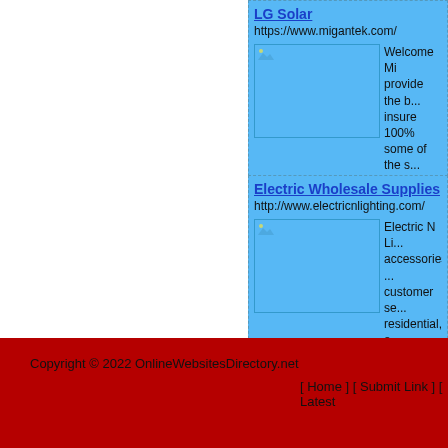LG Solar
https://www.migantek.com/
Welcome Mi... provide the b... insure 100%... some of the s... Fronius, Gin... More...
Electric Wholesale Supplies
http://www.electricnlighting.com/
Electric N Li... accessories ... customer se... residential, a... More...
Copyright © 2022 OnlineWebsitesDirectory.net [ Home ] [ Submit Link ] [ Latest